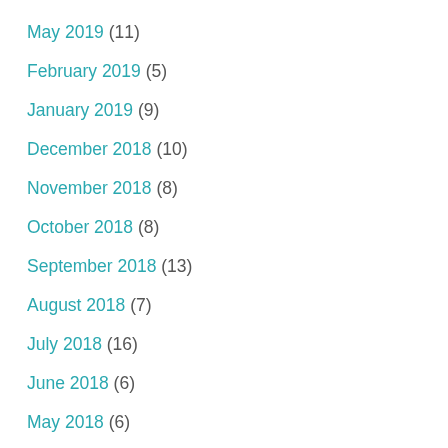May 2019 (11)
February 2019 (5)
January 2019 (9)
December 2018 (10)
November 2018 (8)
October 2018 (8)
September 2018 (13)
August 2018 (7)
July 2018 (16)
June 2018 (6)
May 2018 (6)
April 2018 (10)